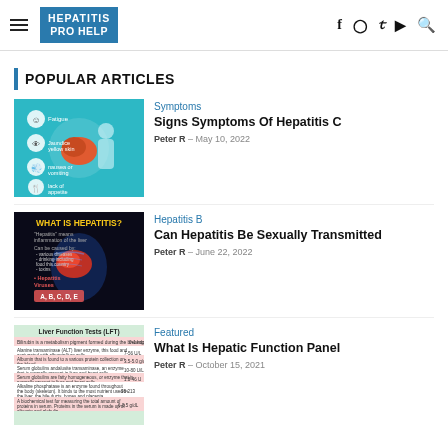HEPATITIS PRO HELP
POPULAR ARTICLES
[Figure (illustration): Medical infographic showing symptoms of Hepatitis C: fatigue, jaundice/yellow skin or eyes, nausea or vomiting, lack of appetite, with a liver illustration and human figure on teal background.]
Symptoms
Signs Symptoms Of Hepatitis C
Peter R  -  May 10, 2022
[Figure (illustration): Dark background medical image showing 'WHAT IS HEPATITIS?' with highlighted liver anatomy in blue X-ray style, text describing hepatitis definition, transmission, and hepatitis viruses A, B, C, D, E.]
Hepatitis B
Can Hepatitis Be Sexually Transmitted
Peter R  -  June 22, 2022
[Figure (table-as-image): Liver Function Tests (LFT) table image on pink/green background showing various liver function test parameters and their reference ranges.]
Featured
What Is Hepatic Function Panel
Peter R  -  October 15, 2021